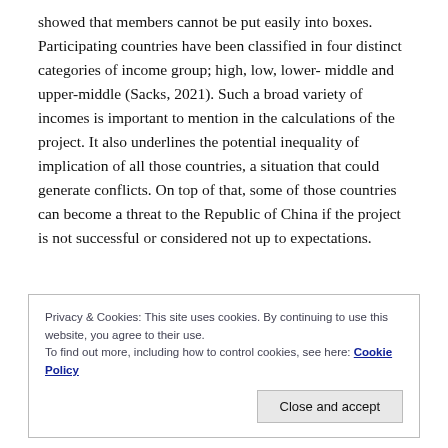showed that members cannot be put easily into boxes. Participating countries have been classified in four distinct categories of income group; high, low, lower-middle and upper-middle (Sacks, 2021). Such a broad variety of incomes is important to mention in the calculations of the project. It also underlines the potential inequality of implication of all those countries, a situation that could generate conflicts. On top of that, some of those countries can become a threat to the Republic of China if the project is not successful or considered not up to expectations.
Privacy & Cookies: This site uses cookies. By continuing to use this website, you agree to their use.
To find out more, including how to control cookies, see here: Cookie Policy